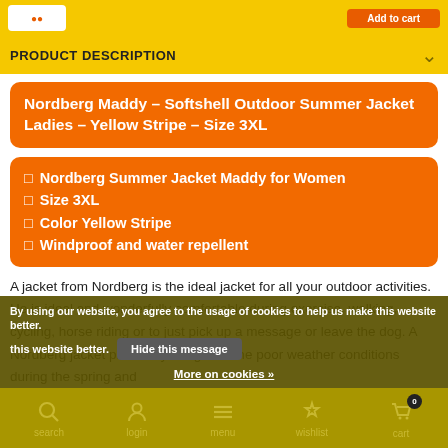PRODUCT DESCRIPTION
Nordberg Maddy – Softshell Outdoor Summer Jacket Ladies – Yellow Stripe – Size 3XL
Nordberg Summer Jacket Maddy for Women
Size 3XL
Color Yellow Stripe
Windproof and water repellent
A jacket from Nordberg is the ideal jacket for all your outdoor activities. He is ideal and wonderfully comfortable during exercise, walking, cycling, horse riding or to just pick up a message or leave the dog. A Nordberg jacket protects you against the poor weather conditions during the spring and
By using our website, you agree to the usage of cookies to help us make this website better. Hide this message More on cookies »
search  login  menu  wishlist  cart 0